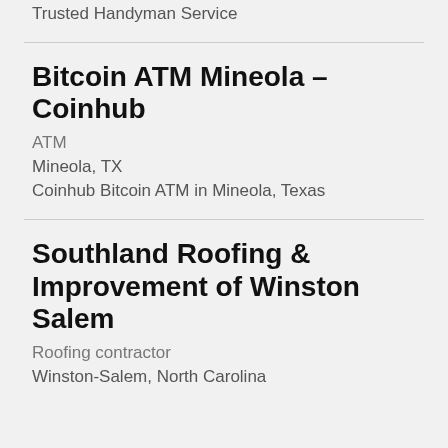Trusted Handyman Service
Bitcoin ATM Mineola – Coinhub
ATM
Mineola, TX
Coinhub Bitcoin ATM in Mineola, Texas
Southland Roofing & Improvement of Winston Salem
Roofing contractor
Winston-Salem, North Carolina